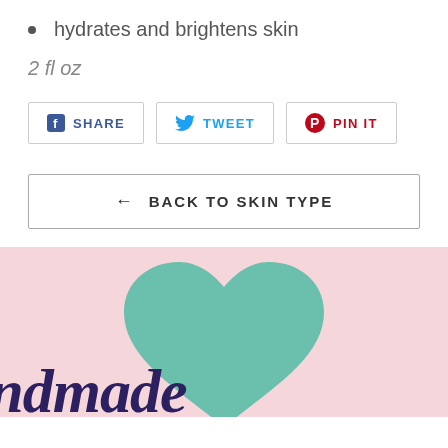hydrates and brightens skin
2 fl oz
SHARE  TWEET  PIN IT
← BACK TO SKIN TYPE
[Figure (illustration): Pink background section with a teal/mint heart shape and script text reading 'handmade' in dark navy blue cursive font at the bottom]